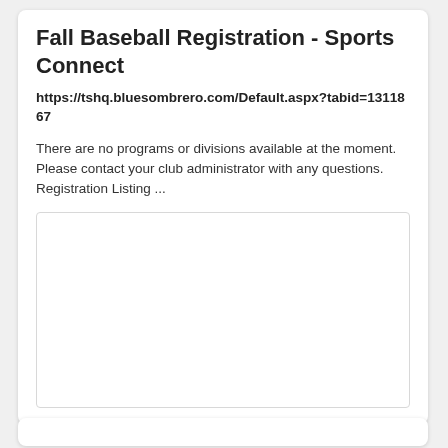Fall Baseball Registration - Sports Connect
https://tshq.bluesombrero.com/Default.aspx?tabid=1311867
There are no programs or divisions available at the moment. Please contact your club administrator with any questions. Registration Listing ...
[Figure (other): Empty white rectangular box with light border]
[Figure (other): Bottom card partial view, white rectangle with rounded corners]